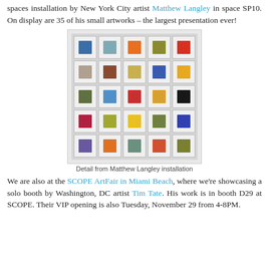spaces installation by New York City artist Matthew Langley in space SP10. On display are 35 of his small artworks – the largest presentation ever!
[Figure (photo): Grid of 25 small framed colorful square artworks by Matthew Langley, arranged 5x5 on a white/grey wall, each featuring abstract color block paintings.]
Detail from Matthew Langley installation
We are also at the SCOPE ArtFair in Miami Beach, where we're showcasing a solo booth by Washington, DC artist Tim Tate. His work is in booth D29 at SCOPE. Their VIP opening is also Tuesday, November 29 from 4-8PM.